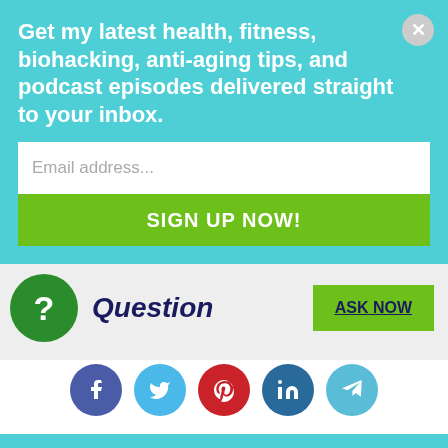Get my latest health, fitness, biohacking, anti-aging tips, and podcast episodes delivered straight to your inbox.
Email address...
SIGN UP NOW!
[Figure (screenshot): Question section with green circle question mark icon, 'Question' label in dark blue italic bold text, and a green 'ASK NOW' button]
[Figure (infographic): Social media share buttons row: Facebook (purple), Twitter (light blue), Pinterest (red), LinkedIn (dark blue), Telegram (light blue)]